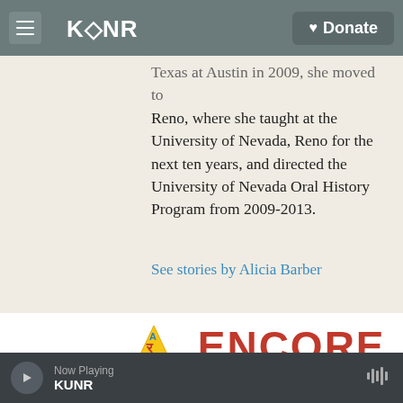KUNR | Donate
Texas at Austin in 2009, she moved to Reno, where she taught at the University of Nevada, Reno for the next ten years, and directed the University of Nevada Oral History Program from 2009-2013.
See stories by Alicia Barber
[Figure (logo): Artown logo with ENCORE SEPT - DEC 2022 text]
SEPTEMBER 12
Now Playing KUNR